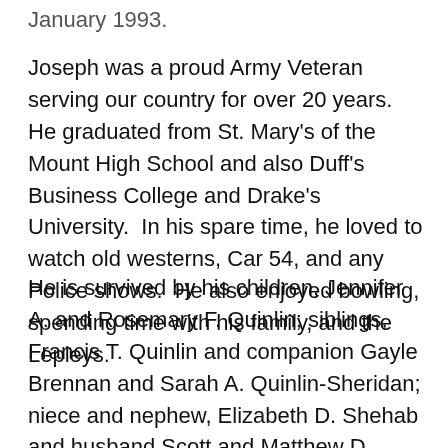January 1993.
Joseph was a proud Army Veteran serving our country for over 20 years.  He graduated from St. Mary's of the Mount High School and also Duff's Business College and Drake's University.  In his spare time, he loved to watch old westerns, Car 54, and any Police shows.  He also enjoyed bowling, spending time with his family, and the Lepleys.
He is survived by his children, Jennifer A. and Rosemary F. Quinlin; siblings, Francis T. Quinlin and companion Gayle Brennan and Sarah A. Quinlin-Sheridan; niece and nephew, Elizabeth D. Shehab and husband Scott and Matthew D. Dillon and wife Allison; great-nieces and nephews, Erin, Ryan, and